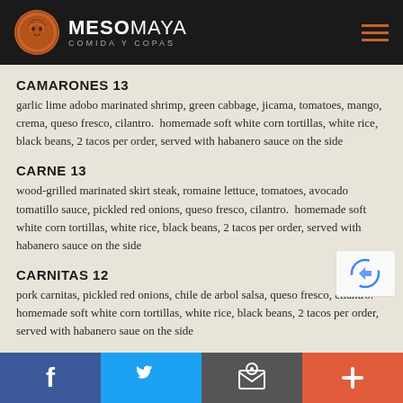MESOMAYA COMIDA Y COPAS
CAMARONES 13
garlic lime adobo marinated shrimp, green cabbage, jicama, tomatoes, mango, crema, queso fresco, cilantro.  homemade soft white corn tortillas, white rice, black beans, 2 tacos per order, served with habanero sauce on the side
CARNE 13
wood-grilled marinated skirt steak, romaine lettuce, tomatoes, avocado tomatillo sauce, pickled red onions, queso fresco, cilantro.  homemade soft white corn tortillas, white rice, black beans, 2 tacos per order, served with habanero sauce on the side
CARNITAS 12
pork carnitas, pickled red onions, chile de arbol salsa, queso fresco, cilantro.  homemade soft white corn tortillas, white rice, black beans, 2 tacos per order, served with habanero sauce on the side
Social media links: Facebook, Twitter, Email, Plus